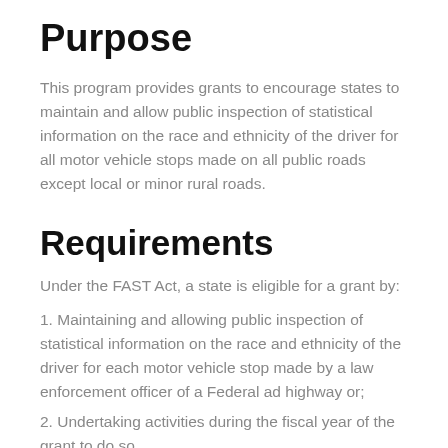Purpose
This program provides grants to encourage states to maintain and allow public inspection of statistical information on the race and ethnicity of the driver for all motor vehicle stops made on all public roads except local or minor rural roads.
Requirements
Under the FAST Act, a state is eligible for a grant by:
1. Maintaining and allowing public inspection of statistical information on the race and ethnicity of the driver for each motor vehicle stop made by a law enforcement officer of a Federal ad highway or;
2. Undertaking activities during the fiscal year of the grant to do so.